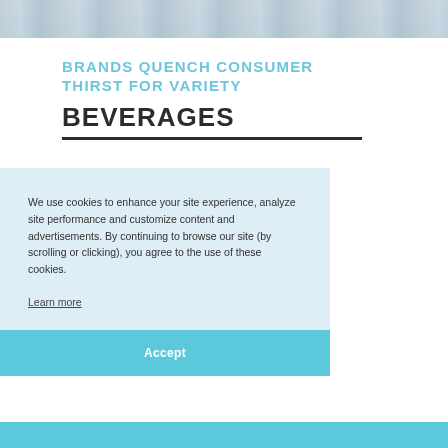[Figure (photo): Partial photo strip at the top of the page showing a beverage-related image with icy/cold textures]
BRANDS QUENCH CONSUMER THIRST FOR VARIETY
BEVERAGES
rong consumer s. Traditional and mate. ance and onsumers. eled by
We use cookies to enhance your site experience, analyze site performance and customize content and advertisements. By continuing to browse our site (by scrolling or clicking), you agree to the use of these cookies.
Learn more
Accept